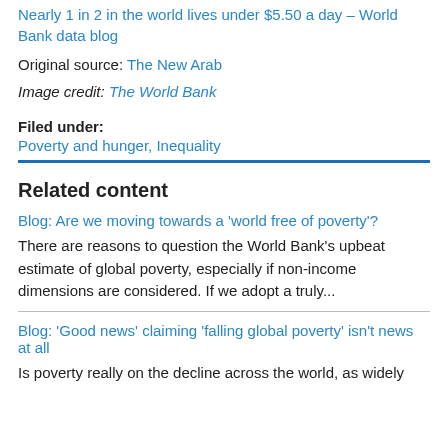Nearly 1 in 2 in the world lives under $5.50 a day – World Bank data blog
Original source: The New Arab
Image credit: The World Bank
Filed under:
Poverty and hunger, Inequality
Related content
Blog: Are we moving towards a 'world free of poverty'?
There are reasons to question the World Bank's upbeat estimate of global poverty, especially if non-income dimensions are considered. If we adopt a truly...
Blog: 'Good news' claiming 'falling global poverty' isn't news at all
Is poverty really on the decline across the world, as widely